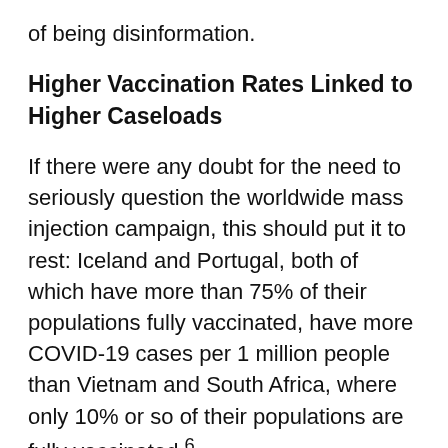of being disinformation.
Higher Vaccination Rates Linked to Higher Caseloads
If there were any doubt for the need to seriously question the worldwide mass injection campaign, this should put it to rest: Iceland and Portugal, both of which have more than 75% of their populations fully vaccinated, have more COVID-19 cases per 1 million people than Vietnam and South Africa, where only 10% or so of their populations are fully vaccinated.⁶
Israel is another example. With more than 60% of its population fully vaccinated, it had the highest number of COVID-19 cases per 1